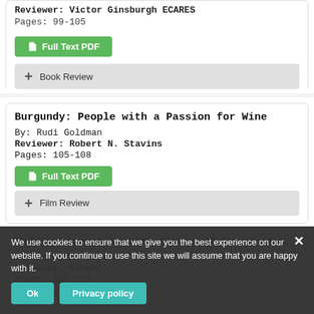Reviewer: Victor Ginsburgh ECARES
Pages: 99-105
[Figure (other): Full Text PDF green button]
[Figure (other): Book Review expand button]
Burgundy: People with a Passion for Wine
By: Rudi Goldman
Reviewer: Robert N. Stavins
Pages: 105-108
[Figure (other): Full Text PDF green button]
[Figure (other): Film Review expand button]
Reds, Whites & Varsity Blues: 65 Years of
By: Jennifer Segal
Reviewer: Richard
Pages: 108-111
We use cookies to ensure that we give you the best experience on our website. If you continue to use this site we will assume that you are happy with it.
Ok
Privacy policy